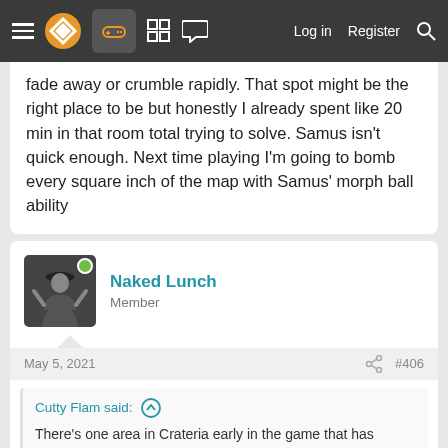Navigation bar with menu, logo, controller icon, grid icon, chat icon, Log in, Register, Search
fade away or crumble rapidly. That spot might be the right place to be but honestly I already spent like 20 min in that room total trying to solve. Samus isn't quick enough. Next time playing I'm going to bomb every square inch of the map with Samus' morph ball ability
Naked Lunch
Member
May 5, 2021  #406
Cutty Flam said: ↑
There's one area in Crateria early in the game that has a place several feet above ground that Samus can walk on but then it (the walking surface, stones of some sort) starts to fade away or crumble rapidly. That spot might be the right place to be but honestly I already spent like 20 min in that room total trying to